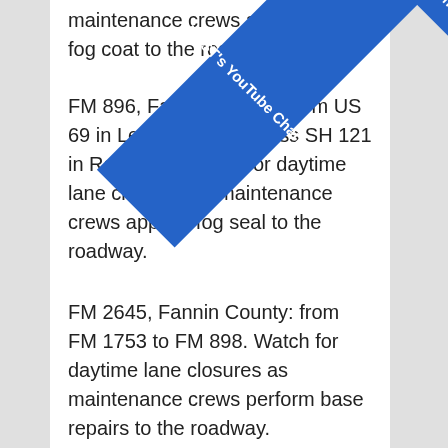maintenance crews apply a fog coat to the roadway.
FM 896, Fannin County: from US 69 in Leonard to Business SH 121 in Randolph. Watch for daytime lane closures as maintenance crews apply a fog seal to the roadway.
FM 2645, Fannin County: from FM 1753 to FM 898. Watch for daytime lane closures as maintenance crews perform base repairs to the roadway.
FM 68, Fannin County: from FM 271 to SH 34. Watch for daytime lane closures as maintenance